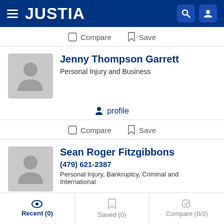JUSTIA
Compare  Save
Jenny Thompson Garrett
Personal Injury and Business
profile
Compare  Save
Sean Roger Fitzgibbons
(479) 621-2387
Personal Injury, Bankruptcy, Criminal and International
profile
Recent (0)  Saved (0)  Compare (0/3)